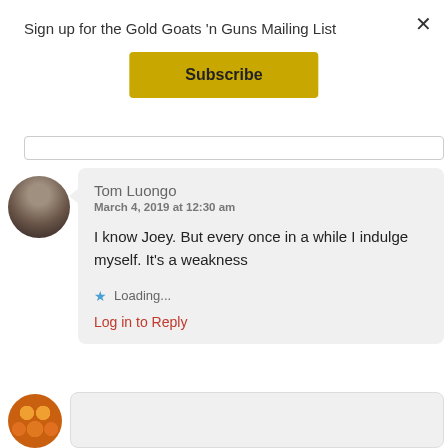Sign up for the Gold Goats 'n Guns Mailing List
Subscribe
Tom Luongo
March 4, 2019 at 12:30 am
I know Joey. But every once in a while I indulge myself. It's a weakness
Loading...
Log in to Reply